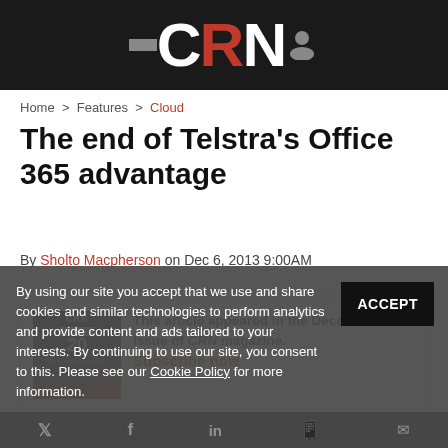CRN
Home > Features > Cloud
The end of Telstra's Office 365 advantage
By Sholto Macpherson on Dec 6, 2013 9:00AM
This article appeared in the December 2013 issue of CRN magazine. Subscribe now
By using our site you accept that we use and share cookies and similar technologies to perform analytics and provide content and ads tailored to your interests. By continuing to use our site, you consent to this. Please see our Cookie Policy for more information.